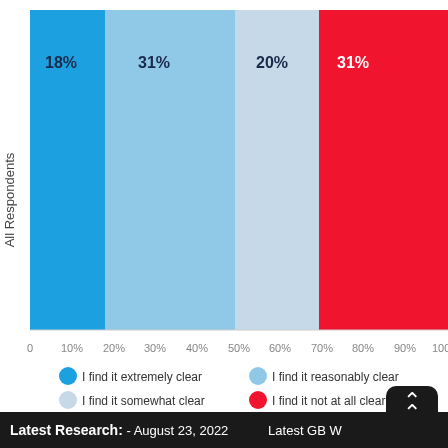[Figure (bar-chart): ]
Latest Research: - August 23, 2022   Latest GB W